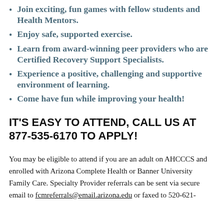Join exciting, fun games with fellow students and Health Mentors.
Enjoy safe, supported exercise.
Learn from award-winning peer providers who are Certified Recovery Support Specialists.
Experience a positive, challenging and supportive environment of learning.
Come have fun while improving your health!
IT'S EASY TO ATTEND, CALL US AT 877-535-6170 TO APPLY!
You may be eligible to attend if you are an adult on AHCCCS and enrolled with Arizona Complete Health or Banner University Family Care. Specialty Provider referrals can be sent via secure email to fcmreferrals@email.arizona.edu or faxed to 520-621-